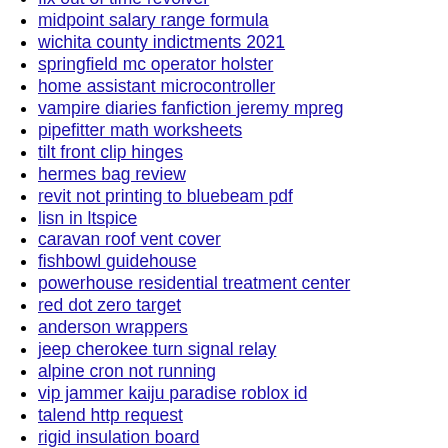fix out of time revolver
midpoint salary range formula
wichita county indictments 2021
springfield mc operator holster
home assistant microcontroller
vampire diaries fanfiction jeremy mpreg
pipefitter math worksheets
tilt front clip hinges
hermes bag review
revit not printing to bluebeam pdf
lisn in ltspice
caravan roof vent cover
fishbowl guidehouse
powerhouse residential treatment center
red dot zero target
anderson wrappers
jeep cherokee turn signal relay
alpine cron not running
vip jammer kaiju paradise roblox id
talend http request
rigid insulation board
500mg distillate cartridge
used airboats for sale ebay near virginia
home builders near maryland
ford anglia for sale craigslist